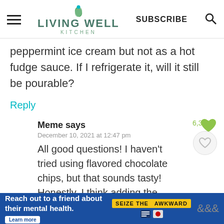[Figure (logo): Living Well Kitchen logo with leaf icon, hamburger menu, SUBSCRIBE text, and search icon]
peppermint ice cream but not as a hot fudge sauce. If I refrigerate it, will it still be pourable?
Reply
Meme says
December 10, 2021 at 12:47 pm
6,311
All good questions! I haven't tried using flavored chocolate chips, but that sounds tasty! Honestly, I think adding the vanilla will make it even tastier because it'll just
[Figure (infographic): Ad banner: Reach out to a friend about their mental health. Learn more. SEIZE THE AWKWARD badge.]